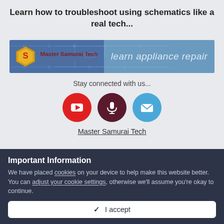Learn how to troubleshoot using schematics like a real tech...
[Figure (logo): Master Samurai Tech banner with hexagonal logo on left and 'learn appliance repair' text on right]
Stay connected with us...
[Figure (infographic): Three social icons: YouTube (red circle with play button), Podcast/Microphone (dark red circle with mic icon), Email (blue circle with envelope icon)]
Master Samurai Tech
Important Information
We have placed cookies on your device to help make this website better. You can adjust your cookie settings, otherwise we'll assume you're okay to continue.
✓ I accept